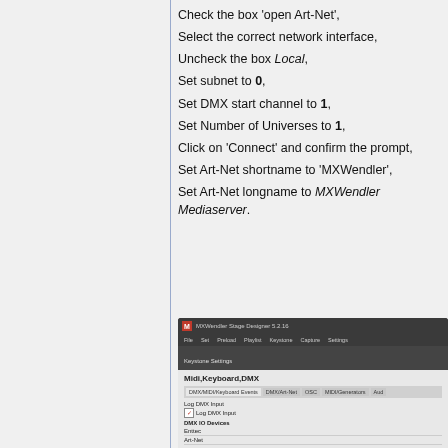Check the box 'open Art-Net',
Select the correct network interface,
Uncheck the box Local,
Set subnet to 0,
Set DMX start channel to 1,
Set Number of Universes to 1,
Click on 'Connect' and confirm the prompt,
Set Art-Net shortname to 'MXWendler',
Set Art-Net longname to MXWendler Mediaserver.
[Figure (screenshot): Screenshot of MXWendler Stage Designer application showing Keystone Settings panel with Midi,Keyboard,DMX tab open. Visible tabs include DMX/MIDI/Keyboard Events, DMX/Art-Net, OSC, MIDI/Generators, Audio. Log DMX Input section with checkbox checked. DMX IO Devices section showing Enttec and Art-Net entries.]